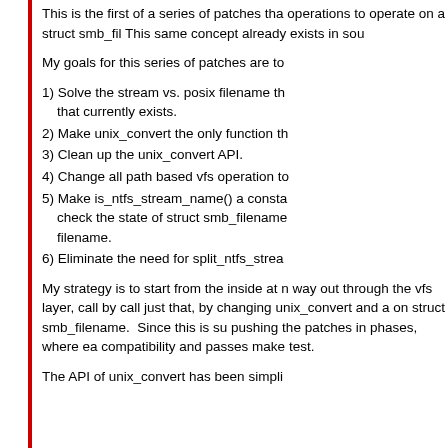This is the first of a series of patches that operations to operate on a struct smb_fi... This same concept already exists in sou...
My goals for this series of patches are to...
1) Solve the stream vs. posix filename th... that currently exists.
2) Make unix_convert the only function th...
3) Clean up the unix_convert API.
4) Change all path based vfs operation to...
5) Make is_ntfs_stream_name() a consta... check the state of struct smb_filename... filename.
6) Eliminate the need for split_ntfs_strea...
My strategy is to start from the inside at ... way out through the vfs layer, call by call... just that, by changing unix_convert and a... on struct smb_filename. Since this is su... pushing the patches in phases, where ea... compatibility and passes make test.
The API of unix_convert has been simpli...